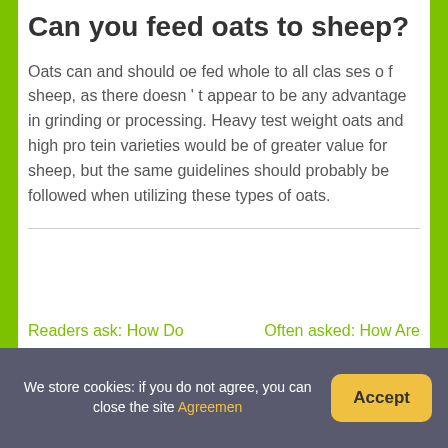Can you feed oats to sheep?
Oats can and should oe fed whole to all clas ses o f sheep, as there doesn ' t appear to be any advantage in grinding or processing. Heavy test weight oats and high pro tein varieties would be of greater value for sheep, but the same guidelines should probably be followed when utilizing these types of oats.
Readers ask: How Do
Often asked: How Are
We store cookies: if you do not agree, you can close the site Agreemen